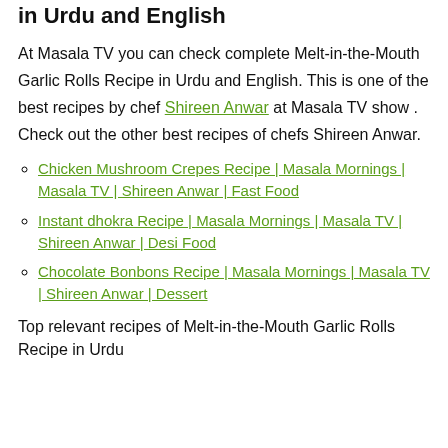Melt-in-the-Mouth Garlic Rolls Recipe in Urdu and English
At Masala TV you can check complete Melt-in-the-Mouth Garlic Rolls Recipe in Urdu and English. This is one of the best recipes by chef Shireen Anwar at Masala TV show . Check out the other best recipes of chefs Shireen Anwar.
Chicken Mushroom Crepes Recipe | Masala Mornings | Masala TV | Shireen Anwar | Fast Food
Instant dhokra Recipe | Masala Mornings | Masala TV | Shireen Anwar | Desi Food
Chocolate Bonbons Recipe | Masala Mornings | Masala TV | Shireen Anwar | Dessert
Top relevant recipes of Melt-in-the-Mouth Garlic Rolls Recipe in Urdu